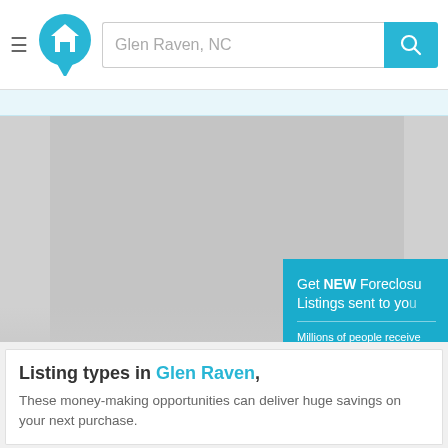Glen Raven, NC — search bar with logo and hamburger menu
[Figure (screenshot): Map area showing Glen Raven, NC in gray tones]
[Figure (infographic): Popup overlay: Get NEW Foreclosure Listings sent to you. Millions of people receive alerts daily, don't miss out. Signup Here button. No Thanks | Remind Me Later links.]
Listing types in Glen Raven,
These money-making opportunities can deliver huge savings on your next purchase.